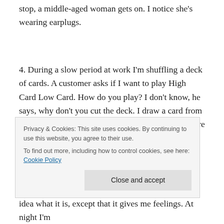stop, a middle-aged woman gets on. I notice she's wearing earplugs.
4. During a slow period at work I'm shuffling a deck of cards. A customer asks if I want to play High Card Low Card. How do you play? I don't know, he says, why don't you cut the deck. I draw a card from the top of the first stack. It's the ace of spades. You're in trouble. I tell him.
[Figure (screenshot): Cookie consent banner with text: 'Privacy & Cookies: This site uses cookies. By continuing to use this website, you agree to their use. To find out more, including how to control cookies, see here: Cookie Policy' and a 'Close and accept' button.]
idea what it is, except that it gives me feelings. At night I'm